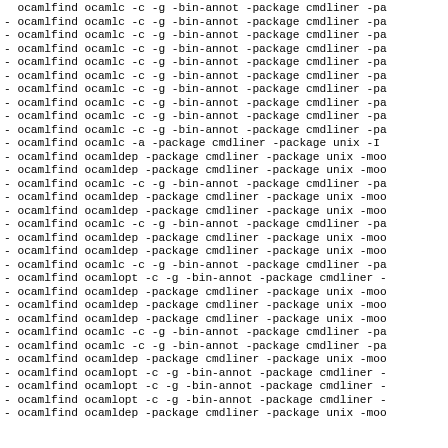- ocamlfind ocamlc -c -g -bin-annot -package cmdliner -pa
- ocamlfind ocamlc -c -g -bin-annot -package cmdliner -pa
- ocamlfind ocamlc -c -g -bin-annot -package cmdliner -pa
- ocamlfind ocamlc -c -g -bin-annot -package cmdliner -pa
- ocamlfind ocamlc -c -g -bin-annot -package cmdliner -pa
- ocamlfind ocamlc -c -g -bin-annot -package cmdliner -pa
- ocamlfind ocamlc -c -g -bin-annot -package cmdliner -pa
- ocamlfind ocamlc -c -g -bin-annot -package cmdliner -pa
- ocamlfind ocamlc -c -g -bin-annot -package cmdliner -pa
- ocamlfind ocamlc -c -g -bin-annot -package cmdliner -pa
- ocamlfind ocamlc -a -package cmdliner -package unix -I
- ocamlfind ocamldep -package cmdliner -package unix -moo
- ocamlfind ocamldep -package cmdliner -package unix -moo
- ocamlfind ocamlc -c -g -bin-annot -package cmdliner -pa
- ocamlfind ocamldep -package cmdliner -package unix -moo
- ocamlfind ocamldep -package cmdliner -package unix -moo
- ocamlfind ocamlc -c -g -bin-annot -package cmdliner -pa
- ocamlfind ocamldep -package cmdliner -package unix -moo
- ocamlfind ocamldep -package cmdliner -package unix -moo
- ocamlfind ocamlc -c -g -bin-annot -package cmdliner -pa
- ocamlfind ocamlopt -c -g -bin-annot -package cmdliner -
- ocamlfind ocamldep -package cmdliner -package unix -moo
- ocamlfind ocamldep -package cmdliner -package unix -moo
- ocamlfind ocamldep -package cmdliner -package unix -moo
- ocamlfind ocamlc -c -g -bin-annot -package cmdliner -pa
- ocamlfind ocamlc -c -g -bin-annot -package cmdliner -pa
- ocamlfind ocamldep -package cmdliner -package unix -moo
- ocamlfind ocamlopt -c -g -bin-annot -package cmdliner -
- ocamlfind ocamlopt -c -g -bin-annot -package cmdliner -
- ocamlfind ocamlopt -c -g -bin-annot -package cmdliner -
- ocamlfind ocamldep -package cmdliner -package unix -moo